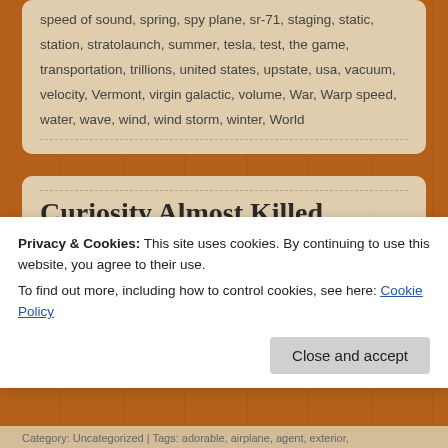speed of sound, spring, spy plane, sr-71, staging, static, station, stratolaunch, summer, tesla, test, the game, transportation, trillions, united states, upstate, usa, vacuum, velocity, Vermont, virgin galactic, volume, War, Warp speed, water, wave, wind, wind storm, winter, World
Curiosity Almost Killed the Cat 1
October 18, 2014 by Jimbo
Privacy & Cookies: This site uses cookies. By continuing to use this website, you agree to their use. To find out more, including how to control cookies, see here: Cookie Policy
Close and accept
Category: Uncategorized | Tags: adorable, airplane, agent, exterior,